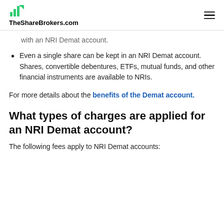TheShareBrokers.com
with an NRI Demat account.
Even a single share can be kept in an NRI Demat account. Shares, convertible debentures, ETFs, mutual funds, and other financial instruments are available to NRIs.
For more details about the benefits of the Demat account.
What types of charges are applied for an NRI Demat account?
The following fees apply to NRI Demat accounts: